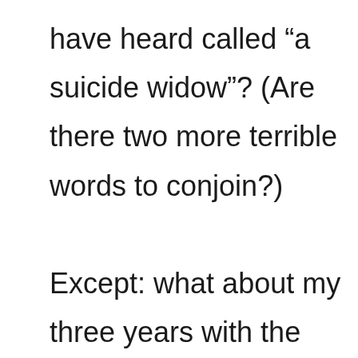have heard called “a suicide widow”? (Are there two more terrible words to conjoin?)

Except: what about my three years with the man I call my Alpha Dude, with